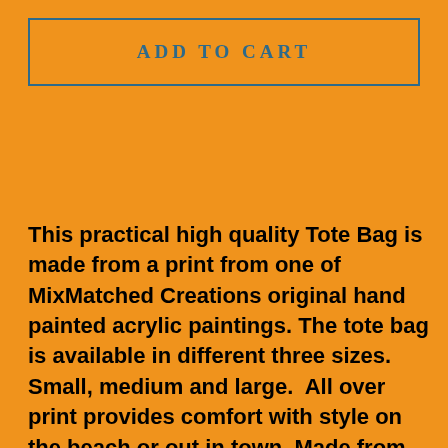ADD TO CART
This practical high quality Tote Bag is made from a print from one of MixMatched Creations original hand painted acrylic paintings. The tote bag is available in different three sizes. Small, medium and large.  All over print provides comfort with style on the beach or out in town. Made from reliable materials, lasting for seasons.